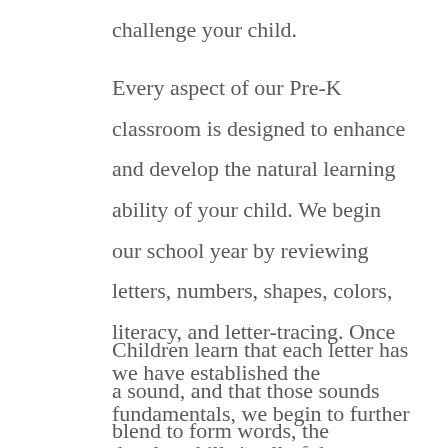challenge your child.
Every aspect of our Pre-K classroom is designed to enhance and develop the natural learning ability of your child. We begin our school year by reviewing letters, numbers, shapes, colors, literacy, and letter-tracing. Once we have established the fundamentals, we begin to further develop skills in all of these areas with more advanced skill-building activities.
Children learn that each letter has a sound, and that those sounds blend to form words, the foundation for reading readiness. We also work on math skills, such as number recognition, number